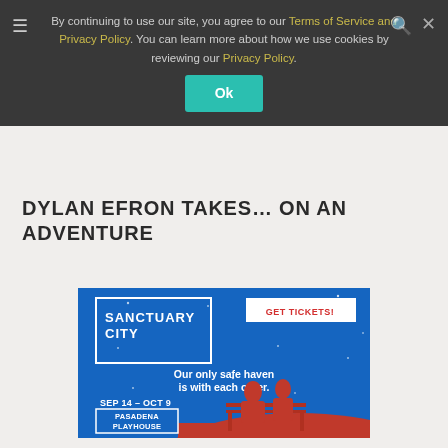By continuing to use our site, you agree to our Terms of Service and Privacy Policy. You can learn more about how we use cookies by reviewing our Privacy Policy.
DYLAN EFRON TAKES … ON AN ADVENTURE
[Figure (illustration): Sanctuary City theater advertisement. Blue background with silhouettes of two people sitting on a bench. Text: SANCTUARY CITY, Our only safe haven is with each other. SEP 14 – OCT 9, PASADENA PLAYHOUSE. GET TICKETS! button in top right.]